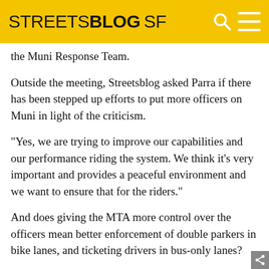STREETSBLOG SF
the Muni Response Team.
Outside the meeting, Streetsblog asked Parra if there has been stepped up efforts to put more officers on Muni in light of the criticism.
"Yes, we are trying to improve our capabilities and our performance riding the system. We think it’s very important and provides a peaceful environment and we want to ensure that for the riders."
And does giving the MTA more control over the officers mean better enforcement of double parkers in bike lanes, and ticketing drivers in bus-only lanes?
Parra: "Right now police officers can issue that parking violation for cars and driving in a bus...